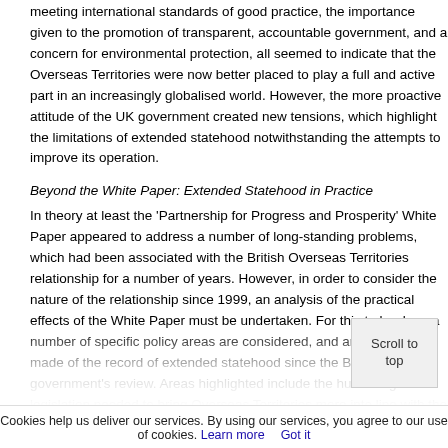meeting international standards of good practice, the importance given to the promotion of transparent, accountable government, and a concern for environmental protection, all seemed to indicate that the Overseas Territories were now better placed to play a full and active part in an increasingly globalised world. However, the more proactive attitude of the UK government created new tensions, which highlight the limitations of extended statehood notwithstanding the attempts to improve its operation.
Beyond the White Paper: Extended Statehood in Practice
In theory at least the 'Partnership for Progress and Prosperity' White Paper appeared to address a number of long-standing problems, which had been associated with the British Overseas Territories relationship for a number of years. However, in order to consider the nature of the relationship since 1999, an analysis of the practical effects of the White Paper must be undertaken. For this to be done a number of specific policy areas are considered, and an evaluation made of the record of extended statehood since the British government's review. Areas highlighted include the human rights legislation needed to bring Overseas Territories more into line with the international obligations to which the UK is subject, the approach with regard to the crisis in Montserrat, and perhaps most controversially, the drive to tighten regulation in the COTs offshore financial industries.
In regard to the issue of human rights, the UK government made clear in the White Paper that 'high standards of observance' were required on the part of the Overseas Territories. The White Paper indicated three particular areas on which the UK government...
Cookies help us deliver our services. By using our services, you agree to our use of cookies. Learn more   Got it